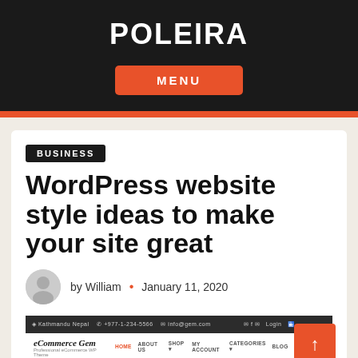POLEIRA
MENU
BUSINESS
WordPress website style ideas to make your site great
by William • January 11, 2020
[Figure (screenshot): Screenshot of eCommerce Gem website with dark top navigation bar and white header with navigation links]